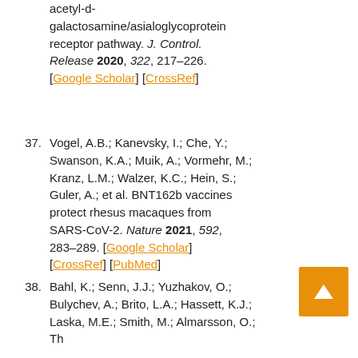acetyl-d-galactosamine/asialoglycoprotein receptor pathway. J. Control. Release 2020, 322, 217–226. [Google Scholar] [CrossRef]
37. Vogel, A.B.; Kanevsky, I.; Che, Y.; Swanson, K.A.; Muik, A.; Vormehr, M.; Kranz, L.M.; Walzer, K.C.; Hein, S.; Guler, A.; et al. BNT162b vaccines protect rhesus macaques from SARS-CoV-2. Nature 2021, 592, 283–289. [Google Scholar] [CrossRef] [PubMed]
38. Bahl, K.; Senn, J.J.; Yuzhakov, O.; Bulychev, A.; Brito, L.A.; Hassett, K.J.; Laska, M.E.; Smith, M.; Almarsson, O.; [continues...]